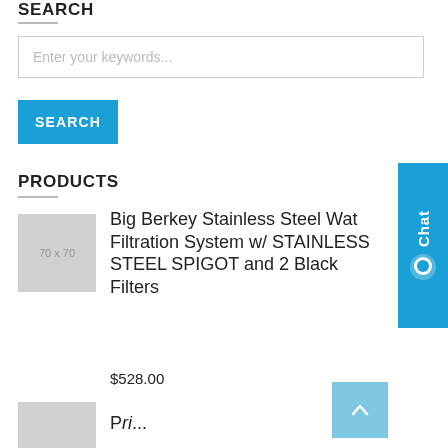SEARCH
Enter your keywords...
SEARCH
PRODUCTS
Big Berkey Stainless Steel Water Filtration System w/ STAINLESS STEEL SPIGOT and 2 Black Filters
$528.00
[Figure (other): Product thumbnail placeholder 70x70]
[Figure (other): Chat widget button on right side]
[Figure (other): Scroll to top button]
[Figure (other): Second product thumbnail placeholder]